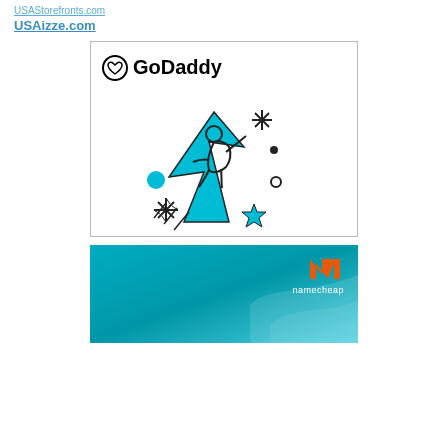USAStorefronts.com
USAizze.com
[Figure (illustration): GoDaddy advertisement banner with white background, GoDaddy logo at top left, and an illustrated person riding/climbing a large teal upward arrow with stars and sparkles around them.]
[Figure (illustration): Namecheap advertisement banner with teal/cyan gradient background, Namecheap logo with orange 'N' at top right, and bold white text reading 'Build Your Website with Namecheap']